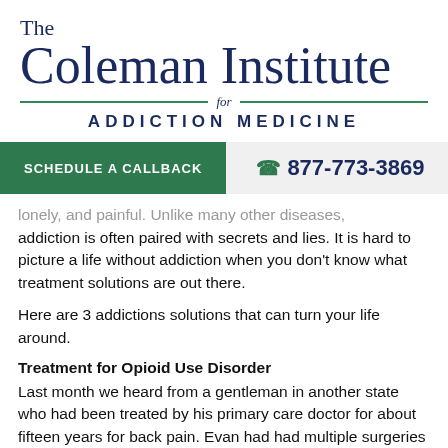[Figure (logo): The Coleman Institute for Addiction Medicine logo with green divider lines]
SCHEDULE A CALLBACK   877-773-3869
lonely, and painful. Unlike many other diseases, addiction is often paired with secrets and lies. It is hard to picture a life without addiction when you don't know what treatment solutions are out there.
Here are 3 addictions solutions that can turn your life around.
Treatment for Opioid Use Disorder
Last month we heard from a gentleman in another state who had been treated by his primary care doctor for about fifteen years for back pain. Evan had had multiple surgeries over the years, and he was a very compliant patient. He never sold or lost his medication, it had been occasionally following